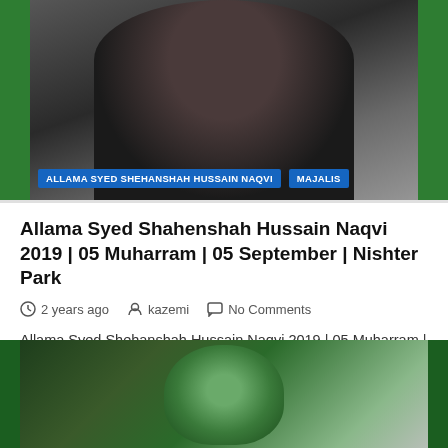[Figure (photo): Grayscale photo of Allama Syed Shehanshah Hussain Naqvi at a podium/microphone, with green side borders. Tags 'ALLAMA SYED SHEHANSHAH HUSSAIN NAQVI' and 'MAJALIS' overlaid at bottom.]
Allama Syed Shahenshah Hussain Naqvi 2019 | 05 Muharram | 05 September | Nishter Park
2 years ago  kazemi  No Comments
Allama Syed Shehanshah Hussain Naqvi 2019 | 05 Muharram | 05 September | Nishter Park   A source for a wide variety of azadari videos including Majlis, Nohay, Jaloos and…
[Figure (photo): Color-tinted photo of another speaker with green tint and green side borders, partially visible at bottom of page.]